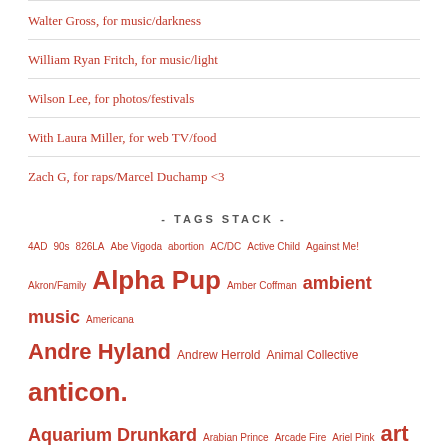Walter Gross, for music/darkness
William Ryan Fritch, for music/light
Wilson Lee, for photos/festivals
With Laura Miller, for web TV/food
Zach G, for raps/Marcel Duchamp <3
- TAGS STACK -
4AD 90s 826LA Abe Vigoda abortion AC/DC Active Child Against Me! Akron/Family Alpha Pup Amber Coffman ambient music Americana Andre Hyland Andrew Herrold Animal Collective anticon. Aquarium Drunkard Arabian Prince Arcade Fire Ariel Pink art rock